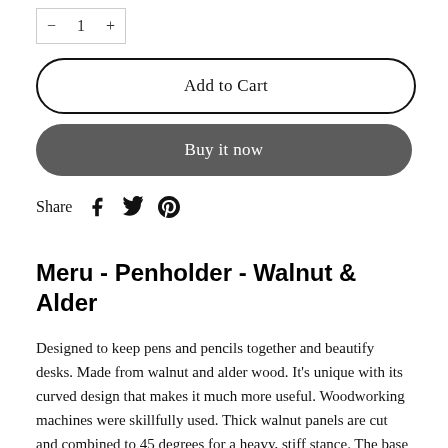[Figure (screenshot): Quantity selector box with minus, 1, plus controls]
Add to Cart
Buy it now
Share [Facebook icon] [Twitter icon] [Pinterest icon]
Meru - Penholder - Walnut & Alder
Designed to keep pens and pencils together and beautify desks. Made from walnut and alder wood. It's unique with its curved design that makes it much more useful. Woodworking machines were skillfully used. Thick walnut panels are cut and combined to 45 degrees for a heavy, stiff stance. The base is made of one piece